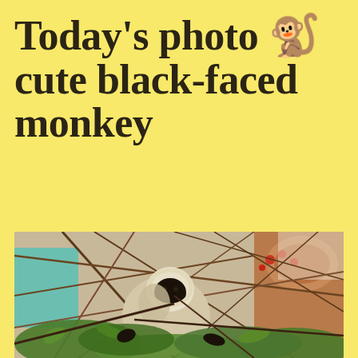Today's photo 🐒 cute black-faced monkey
[Figure (photo): A black-faced monkey (langur) sitting among tree branches and green foliage, with decorative architectural elements in the background. The monkey has a white/cream body and a distinctive black face, partially obscured by branches.]